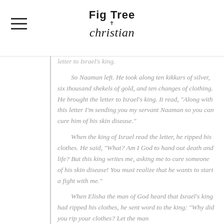Fig Tree Christian
letter to Israel's king.
So Naaman left. He took along ten kikkars of silver, six thousand shekels of gold, and ten changes of clothing. He brought the letter to Israel's king. It read, "Along with this letter I'm sending you my servant Naaman so you can cure him of his skin disease."
When the king of Israel read the letter, he ripped his clothes. He said, "What? Am I God to hand out death and life? But this king writes me, asking me to cure someone of his skin disease! You must realize that he wants to start a fight with me."
When Elisha the man of God heard that Israel's king had ripped his clothes, he sent word to the king: "Why did you rip your clothes? Let the man